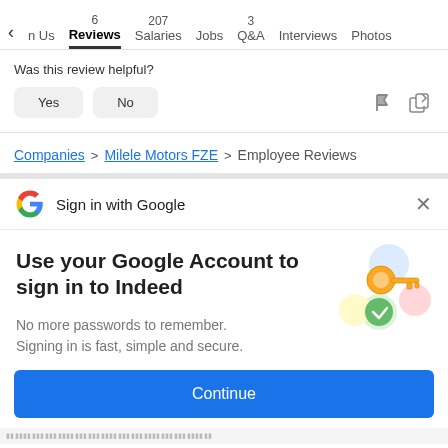n Us   6 Reviews   207 Salaries   Jobs   3 Q&A   Interviews   Photos
Was this review helpful?
Yes   No
Companies > Milele Motors FZE > Employee Reviews
Sign in with Google
Use your Google Account to sign in to Indeed
No more passwords to remember.
Signing in is fast, simple and secure.
Continue